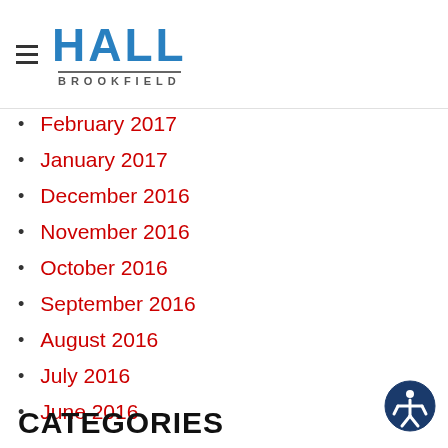HALL BROOKFIELD
February 2017
January 2017
December 2016
November 2016
October 2016
September 2016
August 2016
July 2016
June 2016
May 2016
CATEGORIES